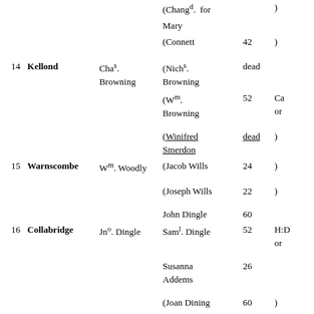| No. | Place | Tenant | Names | Age | Notes |
| --- | --- | --- | --- | --- | --- |
|  |  |  | (Changᵈ. for |  | ) |
|  |  |  | Mary |  |  |
|  |  |  | (Connett | 42 | ) |
| 14 | Kellond | Chaˢ. Browning | (Nichˢ. Browning | dead |  |
|  |  |  | (Wᵐ. Browning | 52 | Ca or |
|  |  |  | (Winifred Smerdon | dead | ) |
| 15 | Warnscombe | Wᵐ. Woodly | (Jacob Wills | 24 | ) |
|  |  |  | (Joseph Wills | 22 | ) |
|  |  |  | John Dingle | 60 |  |
| 16 | Collabridge | Jnº. Dingle | Samˡ. Dingle | 52 | H:D or |
|  |  |  | Susanna Addems | 26 |  |
|  |  |  | (Joan Dining | 60 | ) |
| 17 | Chal... | J...& T... | (J... |  | ... |